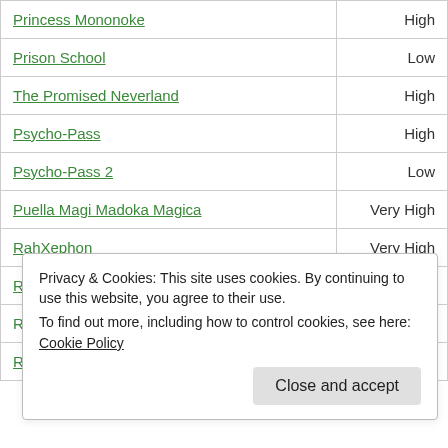| Title | Rating |
| --- | --- |
| Princess Mononoke | High |
| Prison School | Low |
| The Promised Neverland | High |
| Psycho-Pass | High |
| Psycho-Pass 2 | Low |
| Puella Magi Madoka Magica | Very High |
| RahXephon | Very High |
| RahXephon: Pluralitas Concentio | Medium |
| Rainbow | Very |
| Real Drive | Low |
Privacy & Cookies: This site uses cookies. By continuing to use this website, you agree to their use. To find out more, including how to control cookies, see here: Cookie Policy